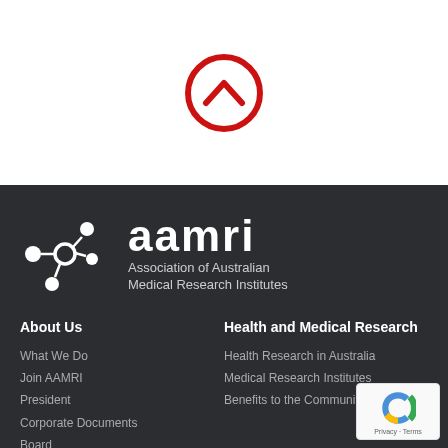[Figure (illustration): Red circle with upward chevron arrow icon (scroll-to-top button) on white background]
[Figure (logo): AAMRI logo: white molecule/network icon with nodes and connections, followed by bold white text 'aamri' and tagline 'Association of Australian Medical Research Institutes' on dark background]
About Us
What We Do
Join AAMRI
President
Corporate Documents
Board
AAMRI Staff
Equality, Diversity & Inclusion
Health and Medical Research
Health Research in Australia
Medical Research Institutes
Benefits to the Community